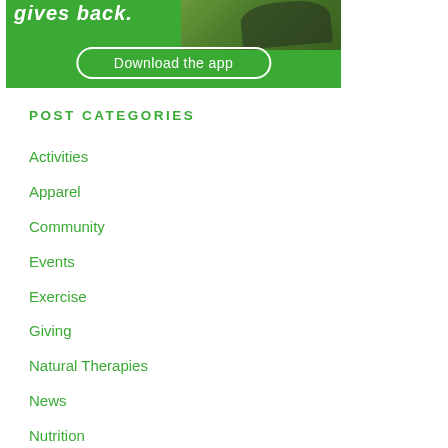[Figure (photo): Green banner ad showing partial text 'gives back.' with a person lying on grass in top right, and a white rounded rectangle button saying 'Download the app' on green background]
POST CATEGORIES
Activities
Apparel
Community
Events
Exercise
Giving
Natural Therapies
News
Nutrition